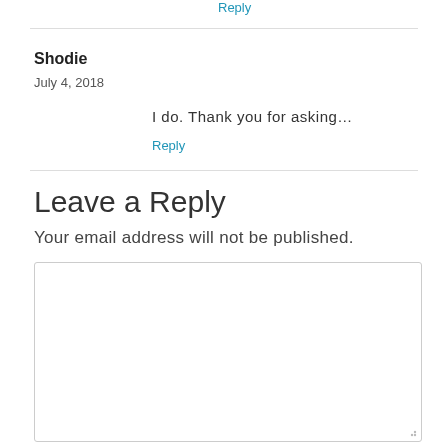Reply
Shodie
July 4, 2018
I do. Thank you for asking…
Reply
Leave a Reply
Your email address will not be published.
[Figure (screenshot): Comment text area input field with placeholder text 'Comment *' and social sharing buttons (Facebook, Twitter, LinkedIn, Pinterest) at the bottom]